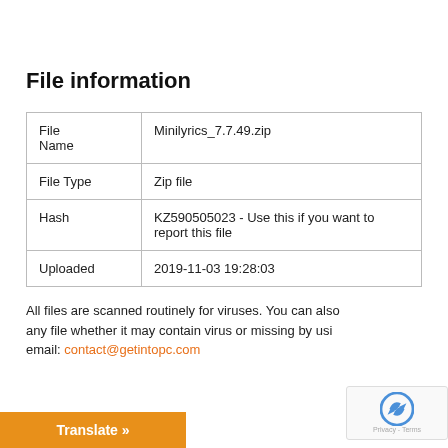File information
|  |  |
| --- | --- |
| File Name | Minilyrics_7.7.49.zip |
| File Type | Zip file |
| Hash | KZ590505023 - Use this if you want to report this file |
| Uploaded | 2019-11-03 19:28:03 |
All files are scanned routinely for viruses. You can also any file whether it may contain virus or missing by usi email: contact@getintopc.com